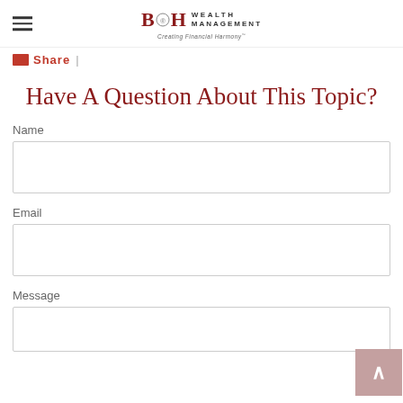B&H Wealth Management — Creating Financial Harmony
Share |
Have A Question About This Topic?
Name
Email
Message